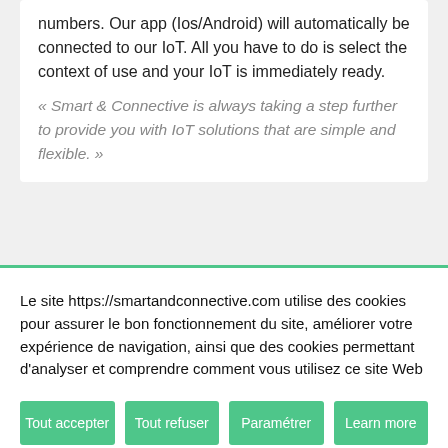numbers. Our app (Ios/Android) will automatically be connected to our IoT. All you have to do is select the context of use and your IoT is immediately ready.
« Smart & Connective is always taking a step further to provide you with IoT solutions that are simple and flexible. »
Le site https://smartandconnective.com utilise des cookies pour assurer le bon fonctionnement du site, améliorer votre expérience de navigation, ainsi que des cookies permettant d'analyser et comprendre comment vous utilisez ce site Web
Tout accepter
Tout refuser
Paramétrer
Learn more